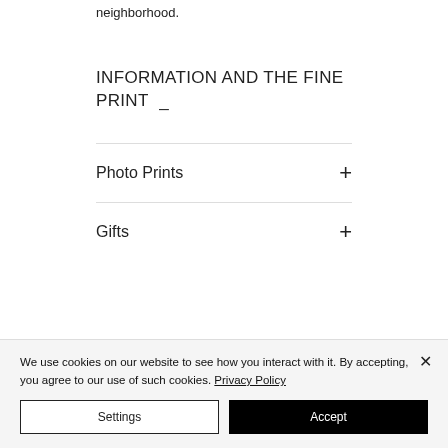neighborhood.
INFORMATION AND THE FINE PRINT
Photo Prints
Gifts
We use cookies on our website to see how you interact with it. By accepting, you agree to our use of such cookies. Privacy Policy
Settings
Accept